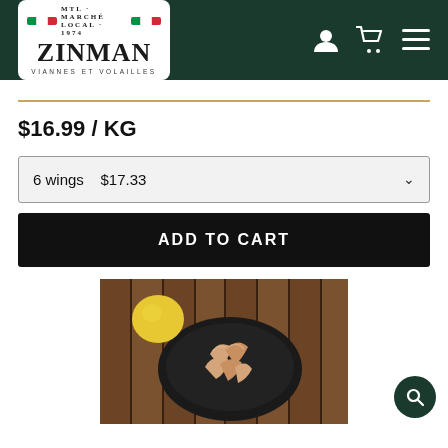[Figure (screenshot): Zinman Marché Local website header with dark green background, Zinman logo (white box with green/white/red flag stripe, 'MARCHÉ LOCAL', 'ZINMAN', 'VIANNES ET VOLAILLES'), user icon, cart icon, and hamburger menu icon in white]
$16.99 / KG
6 wings  $17.33
ADD TO CART
[Figure (photo): Raw chicken wings on a black round plate, placed on a rustic wooden surface with a yellow lemon in the background]